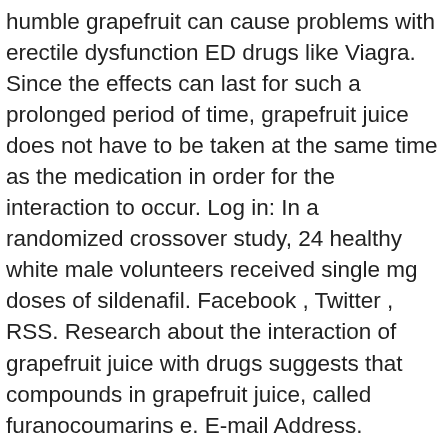humble grapefruit can cause problems with erectile dysfunction ED drugs like Viagra. Since the effects can last for such a prolonged period of time, grapefruit juice does not have to be taken at the same time as the medication in order for the interaction to occur. Log in: In a randomized crossover study, 24 healthy white male volunteers received single mg doses of sildenafil. Facebook , Twitter , RSS. Research about the interaction of grapefruit juice with drugs suggests that compounds in grapefruit juice, called furanocoumarins e. E-mail Address. Grapefruit juice increases sildenafil bioavailability and tends to delay sildenafil absorption. A variety of medications can be boosted by grapefruit juice; the table below lists some of the most important along with related drugs that are less likely to be influenced. If you are really hooked on grapefruit juice, though, you can ask your doctor whether